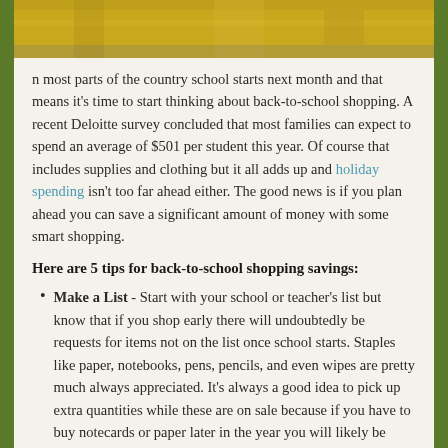[Figure (photo): Top portion of a photo showing yellow school supplies on a surface, partially cropped]
n most parts of the country school starts next month and that means it's time to start thinking about back-to-school shopping. A recent Deloitte survey concluded that most families can expect to spend an average of $501 per student this year. Of course that includes supplies and clothing but it all adds up and holiday spending isn't too far ahead either. The good news is if you plan ahead you can save a significant amount of money with some smart shopping.
Here are 5 tips for back-to-school shopping savings:
Make a List - Start with your school or teacher's list but know that if you shop early there will undoubtedly be requests for items not on the list once school starts. Staples like paper, notebooks, pens, pencils, and even wipes are pretty much always appreciated. It's always a good idea to pick up extra quantities while these are on sale because if you have to buy notecards or paper later in the year you will likely be shocked by the prices.